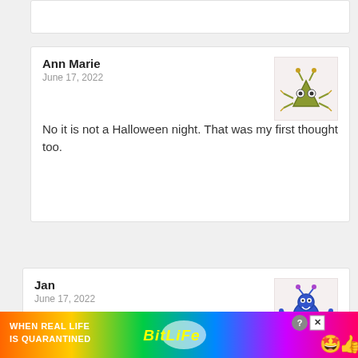Ann Marie
June 17, 2022
No it is not a Halloween night. That was my first thought too.
Jan
June 17, 2022
I am waiting on the times for Sept. Those times will help me with park reservation's. UGH! I hate having to do that. I want to be able to get up and say, let's go here... sinc...
[Figure (screenshot): BitLife advertisement banner: rainbow gradient background with text WHEN REAL LIFE IS QUARANTINED and BitLife logo with emoji icons]